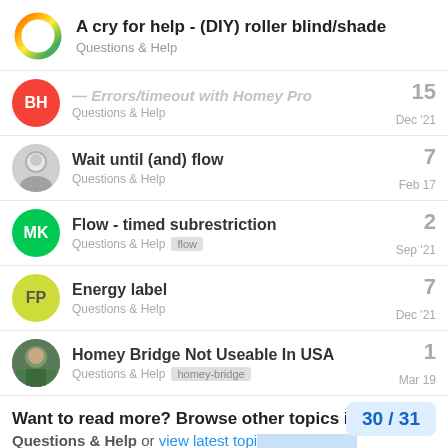A cry for help - (DIY) roller blind/shade
Questions & Help
— Errors/timeout with Homey Pro | Questions & Help | 15 | Dec '21
Wait until (and) flow | Questions & Help | 7 | Feb 17
Flow - timed subrestriction | Questions & Help | flow | 2 | Sep '21
Energy label | Questions & Help | 7 | Dec '21
Homey Bridge Not Useable In USA | Questions & Help | homey-bridge | 1 | Mar 19
Want to read more? Browse other topics in Questions & Help or view latest topi…
30 / 31